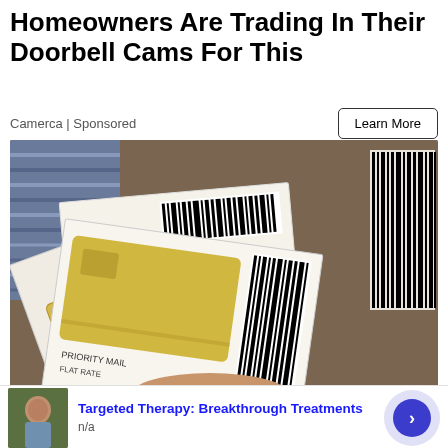Homeowners Are Trading In Their Doorbell Cams For This
Camerca | Sponsored
Learn More
[Figure (photo): A hand holding multiple envelopes or mailers fanned out, showing black and white barcode/printed patterns on white paper documents, with clothing items visible in the background.]
[Figure (photo): Small thumbnail image of a person outdoors, used as ad illustration.]
Targeted Therapy: Breakthrough Treatments
n/a